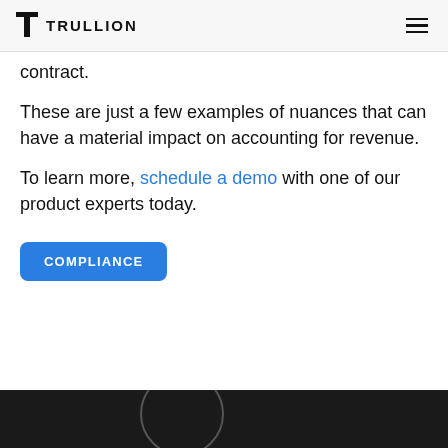TRULLION
contract.
These are just a few examples of nuances that can have a material impact on accounting for revenue.
To learn more, schedule a demo with one of our product experts today.
COMPLIANCE
[Figure (other): Dark footer section with partial circular graphic element visible]